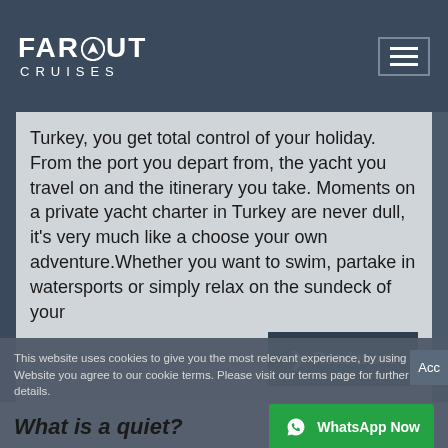FAROUT CRUISES
Turkey, you get total control of your holiday. From the port you depart from, the yacht you travel on and the itinerary you take. Moments on a private yacht charter in Turkey are never dull, it's very much like a choose your own adventure.Whether you want to swim, partake in watersports or simply relax on the sundeck of your
Read more
This website uses cookies to give you the most relevant experience, by using the Website you agree to our cookie terms. Please visit our terms page for further details.
What is a quiet?
WhatsApp Now